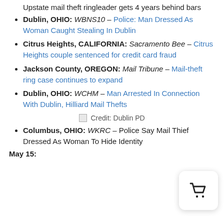Upstate mail theft ringleader gets 4 years behind bars
Dublin, OHIO: WBNS10 – Police: Man Dressed As Woman Caught Stealing In Dublin
Citrus Heights, CALIFORNIA: Sacramento Bee – Citrus Heights couple sentenced for credit card fraud
Jackson County, OREGON: Mail Tribune – Mail-theft ring case continues to expand
Dublin, OHIO: WCHM – Man Arrested In Connection With Dublin, Hilliard Mail Thefts
Credit: Dublin PD
Columbus, OHIO: WKRC – Police Say Mail Thief Dressed As Woman To Hide Identity
May 15: